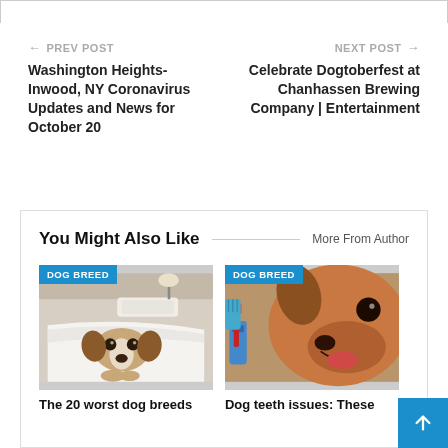← PREV POST
Washington Heights-Inwood, NY Coronavirus Updates and News for October 20
NEXT POST →
Celebrate Dogtoberfest at Chanhassen Brewing Company | Entertainment
You Might Also Like
More From Author
[Figure (photo): Dog hiding under white blanket on a bed, with DOG BREED badge]
The 20 worst dog breeds
[Figure (photo): Dog getting teeth brushed with toothbrush by gloved hands, with DOG BREED badge]
Dog teeth issues: These